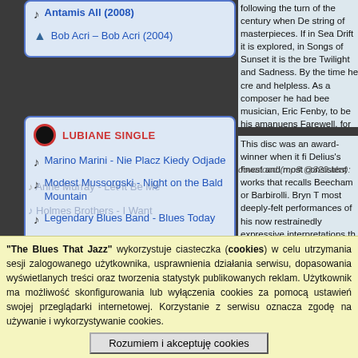Bob Acri – Bob Acri (2004)
following the turn of the century when De string of masterpieces. If in Sea Drift it is explored, in Songs of Sunset it is the bre Twilight and Sadness. By the time he cre and helpless. As a composer he had bee musician, Eric Fenby, to be his amanuens Farewell, for double chorus and orchestr chandos.net
[Figure (other): Vinyl/record icon for Lubiane Single section header]
Lubiane Single
Marino Marini - Nie Placz Kiedy Odjade
Modest Mussorgski - Night on the Bald Mountain
Legendary Blues Band - Blues Today
Celine Dion - When I Need You
Metallica - One
Melvin Taylor - I'll Play The Blues For You
This disc was an award-winner when it fi Delius's finest and most consistent works that recalls Beecham or Barbirolli. Bryn T most deeply-felt performances of his now restrainedly expressive interpretations th Throughout the three works the choirs ar their own in the late Songs of Farewell. It Groves's 1968 account with Janet Baker subtle work that offers far more than mer a pleasure to welcome back to currency.
download (mp3 @320 kbs):
Eva Cassiby - Blues In
Anne Murray - Let It Be Me
Holmes Brothers - I Want
"The Blues That Jazz" wykorzystuje ciasteczka (cookies) w celu utrzymania sesji zalogowanego użytkownika, usprawnienia działania serwisu, dopasowania wyświetlanych treści oraz tworzenia statystyk publikowanych reklam. Użytkownik ma możliwość skonfigurowania lub wyłączenia cookies za pomocą ustawień swojej przeglądarki internetowej. Korzystanie z serwisu oznacza zgodę na używanie i wykorzystywanie cookies.
Rozumiem i akceptuję cookies